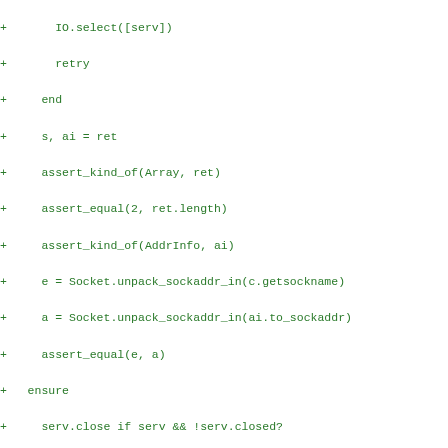[Figure (screenshot): Code diff snippet in green monospace text showing Ruby socket test code with lines prefixed by '+' symbols]